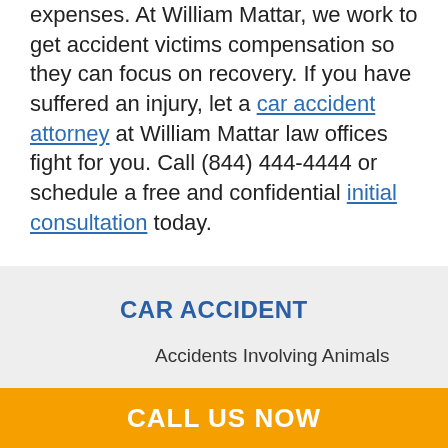expenses. At William Mattar, we work to get accident victims compensation so they can focus on recovery. If you have suffered an injury, let a car accident attorney at William Mattar law offices fight for you. Call (844) 444-4444 or schedule a free and confidential initial consultation today.
CAR ACCIDENT
Accidents Involving Animals
Backover Accident
Car Fire Accident Lawyer
Catastrophic Car Accident
CALL US NOW